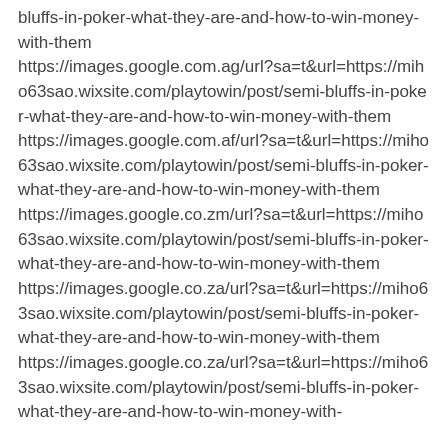bluffs-in-poker-what-they-are-and-how-to-win-money-with-them
https://images.google.com.ag/url?sa=t&url=https://miho63sao.wixsite.com/playtowin/post/semi-bluffs-in-poker-what-they-are-and-how-to-win-money-with-them
https://images.google.com.af/url?sa=t&url=https://miho63sao.wixsite.com/playtowin/post/semi-bluffs-in-poker-what-they-are-and-how-to-win-money-with-them
https://images.google.co.zm/url?sa=t&url=https://miho63sao.wixsite.com/playtowin/post/semi-bluffs-in-poker-what-they-are-and-how-to-win-money-with-them
https://images.google.co.za/url?sa=t&url=https://miho63sao.wixsite.com/playtowin/post/semi-bluffs-in-poker-what-they-are-and-how-to-win-money-with-them
https://images.google.co.za/url?sa=t&url=https://miho63sao.wixsite.com/playtowin/post/semi-bluffs-in-poker-what-they-are-and-how-to-win-money-with-...